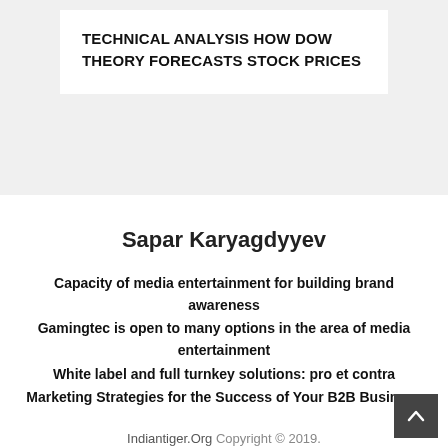TECHNICAL ANALYSIS HOW DOW THEORY FORECASTS STOCK PRICES
Sapar Karyagdyyev
Capacity of media entertainment for building brand awareness
Gamingtec is open to many options in the area of media entertainment
White label and full turnkey solutions: pro et contra
Marketing Strategies for the Success of Your B2B Business
Indiantiger.Org Copyright © 2019. Disclaimer | Contact